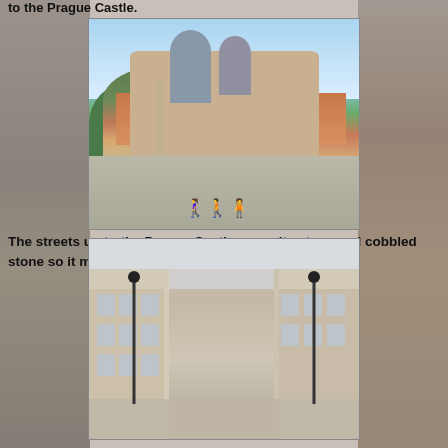to the Prague Castle.
[Figure (photo): View of Prague Castle from a bridge, with people walking, a stone pillar, orange-roofed buildings, and green trees in the foreground]
The streets up to the Prague Castle are quite steep and cobbled stone so it made for an interesting ride on the Segway.
[Figure (photo): Street view of Prague old town with classical European buildings and lamp posts]